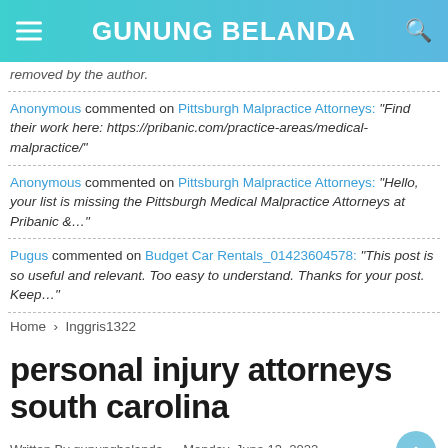GUNUNG BELANDA
removed by the author.
Anonymous commented on Pittsburgh Malpractice Attorneys: "Find their work here: https://pribanic.com/practice-areas/medical-malpractice/"
Anonymous commented on Pittsburgh Malpractice Attorneys: "Hello, your list is missing the Pittsburgh Medical Malpractice Attorneys at Pribanic &…"
Pugus commented on Budget Car Rentals_01423604578: "This post is so useful and relevant. Too easy to understand. Thanks for your post. Keep…"
Home › Inggris1322
personal injury attorneys south carolina
Written By gunungbelanda — Monday, June 13, 2022 — Add Comment